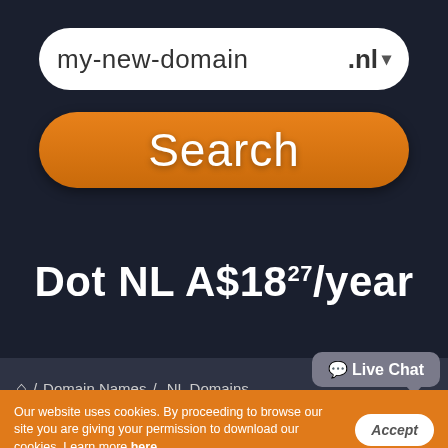[Figure (screenshot): Domain name search input field showing 'my-new-domain' with '.nl' TLD selector]
[Figure (screenshot): Orange 'Search' button]
Dot NL A$18.27/year
🏠 / Domain Names / .NL Domains
Live Chat
Our website uses cookies. By proceeding to browse our site you are giving your permission to download our cookies. Learn more here.